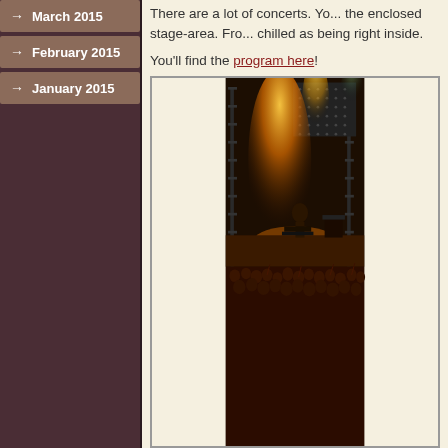→ March 2015
→ February 2015
→ January 2015
There are a lot of concerts. Yo... the enclosed stage-area. Fro... chilled as being right inside.
You'll find the program here!
[Figure (photo): Concert photo showing a performer on stage with dramatic stage lighting (yellow and orange spotlights), truss structures, and a large audience crowd in the lower portion of the image.]